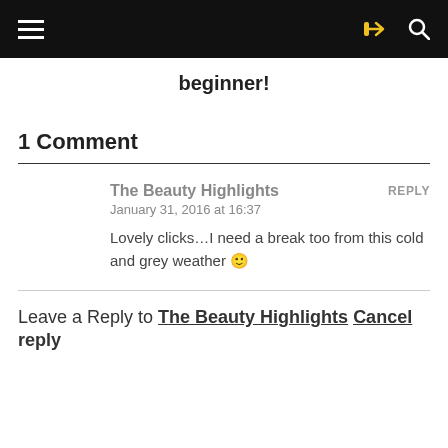beginner!
1 Comment
The Beauty Highlights
January 31, 2016 at 16:37
Lovely clicks…I need a break too from this cold and grey weather 🙂
Leave a Reply to The Beauty Highlights Cancel reply